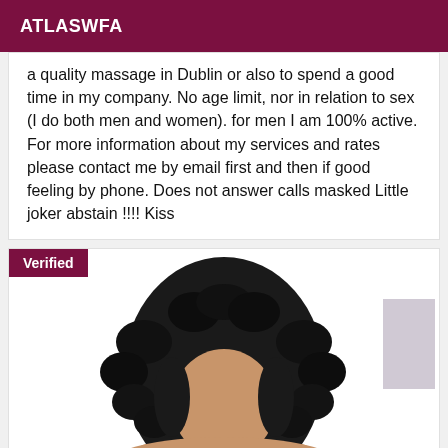ATLASWFA
a quality massage in Dublin or also to spend a good time in my company. No age limit, nor in relation to sex (I do both men and women). for men I am 100% active. For more information about my services and rates please contact me by email first and then if good feeling by phone. Does not answer calls masked Little joker abstain !!!! Kiss
[Figure (photo): Photo of a person with curly dark hair, with a 'Verified' badge overlay in the top-left corner and a small light-colored rectangle in the upper-right area.]